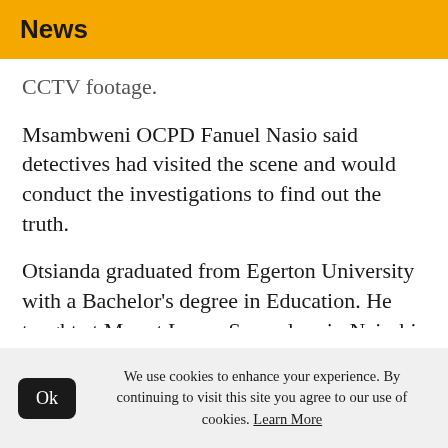News
CCTV footage.
Msambweni OCPD Fanuel Nasio said detectives had visited the scene and would conduct the investigations to find out the truth.
Otsianda graduated from Egerton University with a Bachelor's degree in Education. He taught at Mount Laven Secondary in Nairobi in 2013 before moving to Kakuma Refugee Camp, where he taught at two schools between 2014 and 2018.
In 2018, he was employed by the government
We use cookies to enhance your experience. By continuing to visit this site you agree to our use of cookies. Learn More